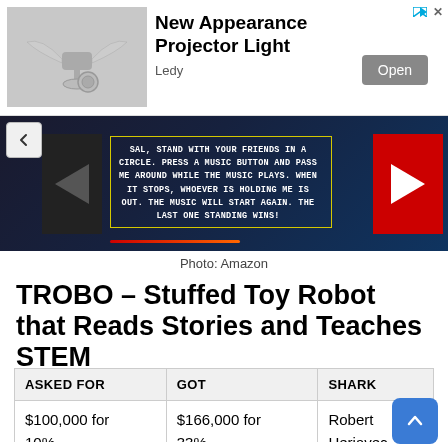[Figure (screenshot): Advertisement banner for 'New Appearance Projector Light' by Ledy, with product image on left, title and Open button on right, and a play/close icon at top right.]
[Figure (screenshot): Dark video thumbnail showing text: 'SAL, STAND WITH YOUR FRIENDS IN A CIRCLE. PRESS A MUSIC BUTTON AND PASS ME AROUND WHILE THE MUSIC PLAYS. WHEN IT STOPS, WHOEVER IS HOLDING ME IS OUT. THE MUSIC WILL START AGAIN. THE LAST ONE STANDING WINS!' with red play triangle on right and left/back navigation arrow.]
Photo: Amazon
TROBO – Stuffed Toy Robot that Reads Stories and Teaches STEM
| ASKED FOR | GOT | SHARK |
| --- | --- | --- |
| $100,000 for 10% | $166,000 for 33% | Robert Herjavec |